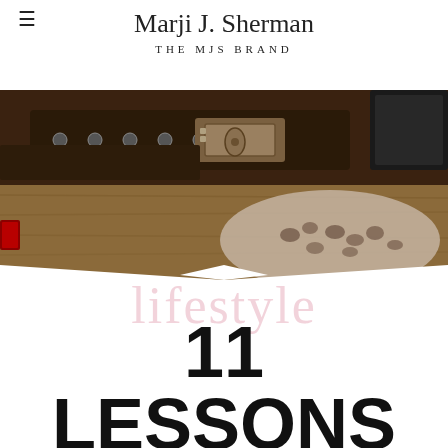Marji J. Sherman — THE MJS BRAND
[Figure (photo): Close-up photo of leather goods including a belt buckle, leather belt with studs, and a floral-patterned fabric item on a wooden surface with vintage automotive parts visible]
lifestyle
11 LESSONS